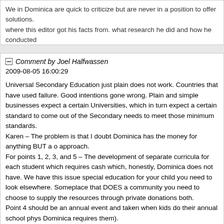We in Dominica are quick to criticize but are never in a position to offer solutions. where this editor got his facts from. what research he did and how he conducted who like to politicize everything, i am NOT a labourite…in fact i am very far from i
Comment by Joel Halfwassen
2009-08-05 16:00:29
Universal Secondary Education just plain does not work. Countries that have used failure. Good intentions gone wrong. Plain and simple businesses expect a certain Universities, which in turn expect a certain standard to come out of the Secondary needs to meet those minimum standards.
Karen – The problem is that I doubt Dominica has the money for anything BUT a o approach.
For points 1, 2, 3, and 5 – The development of separate curricula for each student which requires cash which, honestly, Dominica does not have. We have this issue special education for your child you need to look elsewhere. Someplace that DOES a community you need to choose to supply the resources through private donations both.
Point 4 should be an annual event and taken when kids do their annual school phys Dominica requires them).
Point 6, 7, and 8 – I agree. This is SO vital!